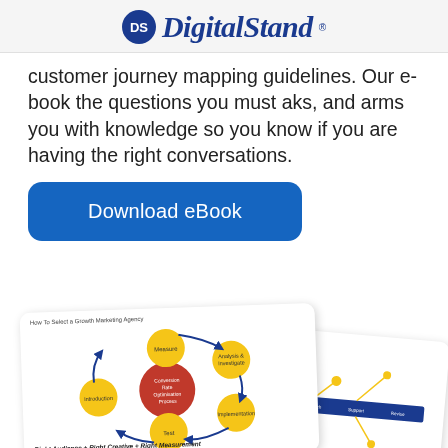DigitalStand
customer journey mapping guidelines. Our e-book the questions you must aks, and arms you with knowledge so you know if you are having the right conversations.
Download eBook
[Figure (screenshot): Two overlapping eBook preview pages showing circular flow diagrams and process diagrams for selecting a growth marketing agency, with text 'Right Audience + Right Creative + Right Measurement']